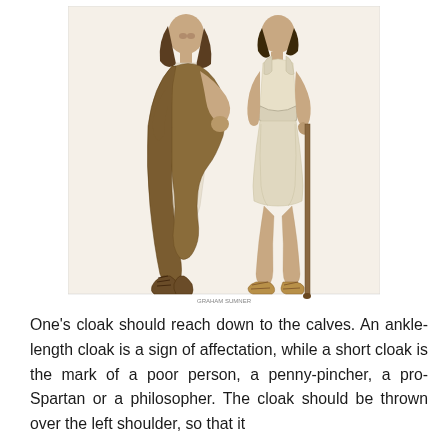[Figure (illustration): Illustration of two ancient Greek figures in traditional garments. The figure on the left is an older man wearing a long brown himation (cloak) draped over his body, reaching near ankle length, with laced boots. The figure on the right is a younger person wearing a short, light-colored chiton (tunic) gathered at the waist, holding a staff, and wearing sandals. A small artist credit appears below the image.]
One's cloak should reach down to the calves. An ankle-length cloak is a sign of affectation, while a short cloak is the mark of a poor person, a penny-pincher, a pro-Spartan or a philosopher. The cloak should be thrown over the left shoulder, so that it